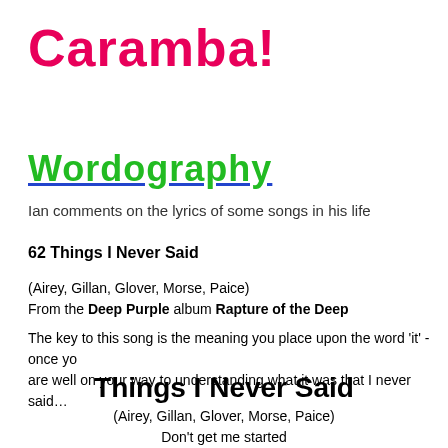Caramba!
Wordography
Ian comments on the lyrics of some songs in his life
62 Things I Never Said
(Airey, Gillan, Glover, Morse, Paice)
From the Deep Purple album Rapture of the Deep
The key to this song is the meaning you place upon the word 'it' - once you are well on your way to understanding what it was that I never said…
Things I Never Said
(Airey, Gillan, Glover, Morse, Paice)
Don't get me started
Let's get it right
No use talking about it